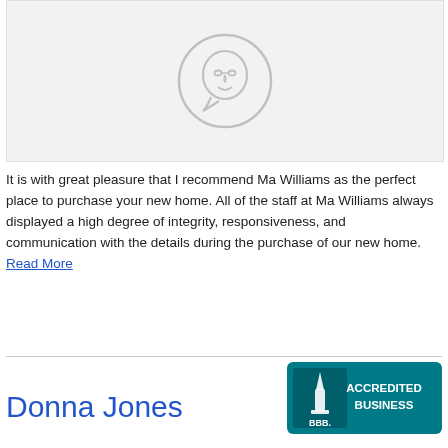[Figure (illustration): Circular avatar placeholder icon showing a cartoon face with glasses on a light grey background box]
It is with great pleasure that I recommend Ma Williams as the perfect place to purchase your new home. All of the staff at Ma Williams always displayed a high degree of integrity, responsiveness, and communication with the details during the purchase of our new home. Read More
[Figure (logo): BBB Accredited Business badge — teal/dark green background with BBB torch logo on left and text ACCREDITED BUSINESS on right]
Donna Jones